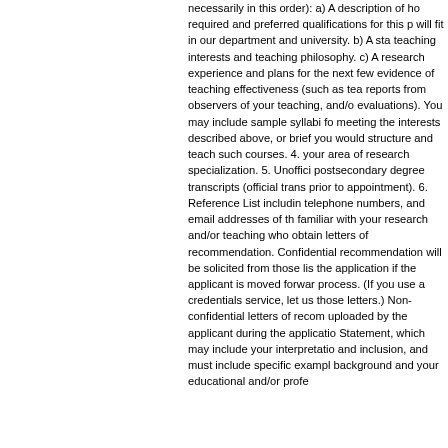necessarily in this order): a) A description of ho required and preferred qualifications for this p will fit in our department and university. b) A sta teaching interests and teaching philosophy. c) A research experience and plans for the next few evidence of teaching effectiveness (such as tea reports from observers of your teaching, and/o evaluations). You may include sample syllabi fo meeting the interests described above, or brief you would structure and teach such courses. 4. your area of research specialization. 5. Unoffici postsecondary degree transcripts (official trans prior to appointment). 6. Reference List includin telephone numbers, and email addresses of th familiar with your research and/or teaching who obtain letters of recommendation. Confidential recommendation will be solicited from those lis the application if the applicant is moved forwar process. (If you use a credentials service, let us those letters.) Non-confidential letters of recom uploaded by the applicant during the applicatio Statement, which may include your interpretatio and inclusion, and must include specific exampl background and your educational and/or profe